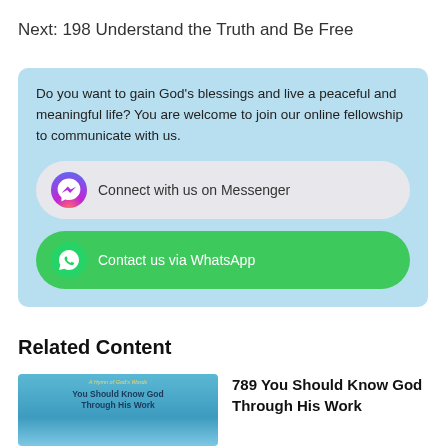Next: 198 Understand the Truth and Be Free
[Figure (infographic): Blue rounded box with text inviting users to join online fellowship, containing two buttons: 'Connect with us on Messenger' and 'Contact us via WhatsApp']
Related Content
[Figure (photo): Book cover thumbnail: 'You Should Know God Through His Work']
789 You Should Know God Through His Work